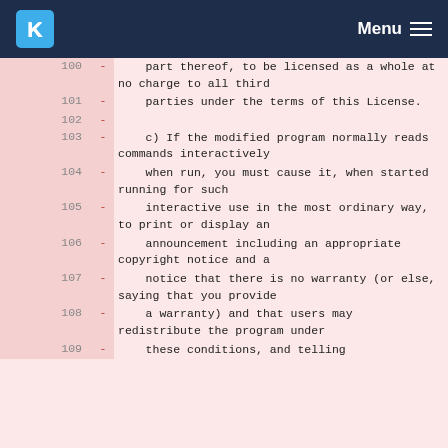KDE Menu
100  -      part thereof, to be licensed as a whole at no charge to all third
101  -      parties under the terms of this License.
102  -
103  -      c) If the modified program normally reads commands interactively
104  -      when run, you must cause it, when started running for such
105  -      interactive use in the most ordinary way, to print or display an
106  -      announcement including an appropriate copyright notice and a
107  -      notice that there is no warranty (or else, saying that you provide
108  -      a warranty) and that users may redistribute the program under
109  -      these conditions, and telling